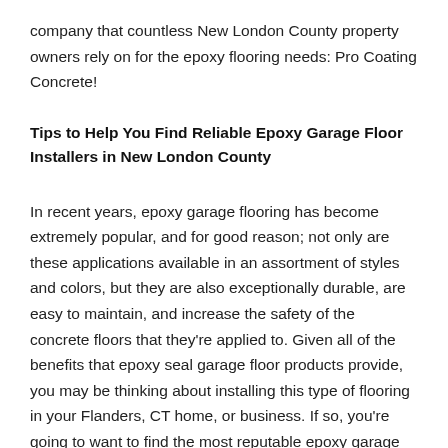company that countless New London County property owners rely on for the epoxy flooring needs: Pro Coating Concrete!
Tips to Help You Find Reliable Epoxy Garage Floor Installers in New London County
In recent years, epoxy garage flooring has become extremely popular, and for good reason; not only are these applications available in an assortment of styles and colors, but they are also exceptionally durable, are easy to maintain, and increase the safety of the concrete floors that they're applied to. Given all of the benefits that epoxy seal garage floor products provide, you may be thinking about installing this type of flooring in your Flanders, CT home, or business. If so, you're going to want to find the most reputable epoxy garage floor installers to do the job. But how do you find a